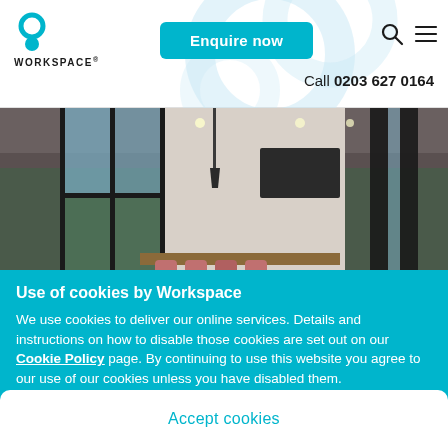Workspace® — Enquire now | Call 0203 627 0164
[Figure (photo): Interior office space with large black-framed floor-to-ceiling windows, industrial ceiling with exposed ducts and pendant lights, a long wooden conference table with pink/red chairs, and a TV screen on the wall.]
Use of cookies by Workspace
We use cookies to deliver our online services. Details and instructions on how to disable those cookies are set out on our Cookie Policy page. By continuing to use this website you agree to our use of our cookies unless you have disabled them.
Accept cookies